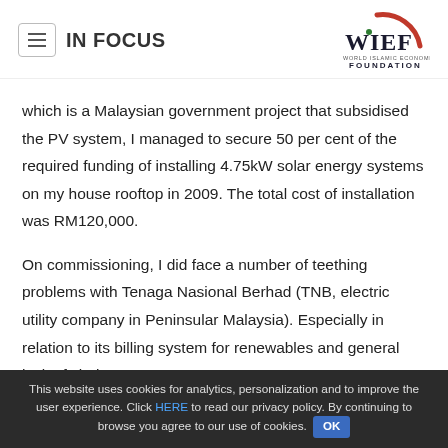IN FOCUS
which is a Malaysian government project that subsidised the PV system, I managed to secure 50 per cent of the required funding of installing 4.75kW solar energy systems on my house rooftop in 2009. The total cost of installation was RM120,000.
On commissioning, I did face a number of teething problems with Tenaga Nasional Berhad (TNB, electric utility company in Peninsular Malaysia). Especially in relation to its billing system for renewables and general lack of clarity
This website uses cookies for analytics, personalization and to improve the user experience. Click HERE to read our privacy policy. By continuing to browse you agree to our use of cookies. OK